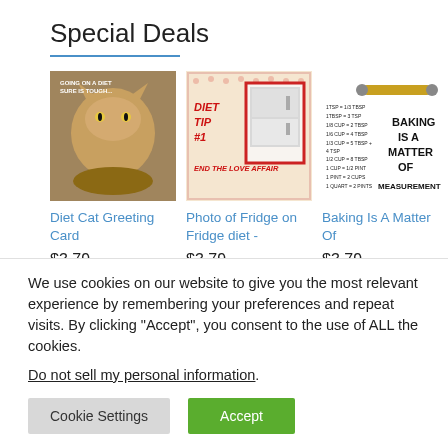Special Deals
[Figure (photo): Diet cat greeting card product image - cat looking at fried food with text 'GOING ON A DIET SURE IS TOUGH...']
[Figure (photo): Photo of fridge on fridge diet card - decorative card with text 'DIET TIP #1 END THE LOVE AFFAIR']
[Figure (photo): Baking is a matter of measurement card - shows measurement conversions and text 'BAKING IS A MATTER OF MEASUREMENT']
Diet Cat Greeting Card
$3.79
Photo of Fridge on Fridge diet -
$3.79
Baking Is A Matter Of
$3.79
We use cookies on our website to give you the most relevant experience by remembering your preferences and repeat visits. By clicking “Accept”, you consent to the use of ALL the cookies.
Do not sell my personal information.